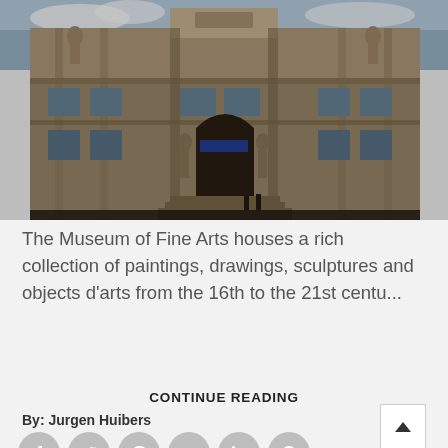[Figure (photo): Exterior facade of the Museum of Fine Arts — a grand classical stone building with arched entrance, columns, decorative sculptures, and large windows. The photo is taken from street level and is somewhat dark/shadowed.]
The Museum of Fine Arts houses a rich collection of paintings, drawings, sculptures and objects d'arts from the 16th to the 21st centu...
CONTINUE READING
By: Jurgen Huibers